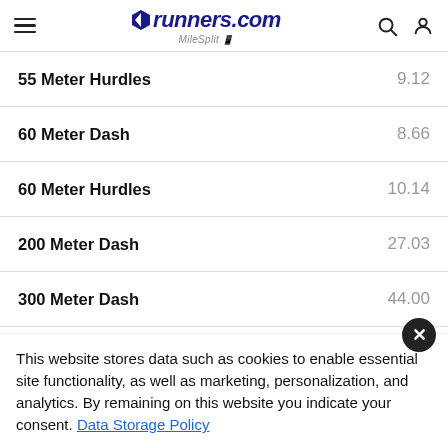runners.com MileSplit
| Event | Time |
| --- | --- |
| 55 Meter Hurdles | 9.12 |
| 60 Meter Dash | 8.66 |
| 60 Meter Hurdles | 10.14 |
| 200 Meter Dash | 27.03 |
| 300 Meter Dash | 44.00 |
| 400 Meter Dash | 1:00.02 |
This website stores data such as cookies to enable essential site functionality, as well as marketing, personalization, and analytics. By remaining on this website you indicate your consent. Data Storage Policy